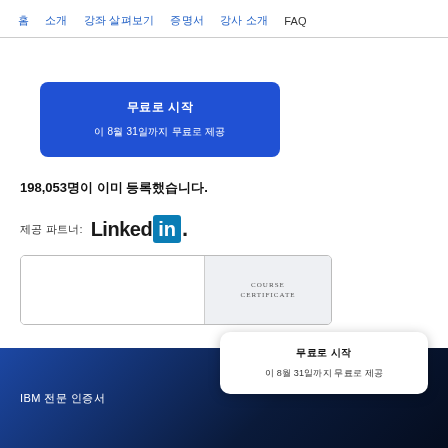홈  소개  강좌 살펴보기  증명서  강사 소개  FAQ
[Figure (other): Blue CTA button with Korean text: 무료로 시작 / 이 8월 31일까지 무료로 제공]
198,053명이 이미 등록했습니다.
제공 파트너:  LinkedIn
[Figure (other): Course Certificate preview image with left white area and right shaded area labeled COURSE CERTIFICATE]
IBM 전문 인증서  |  무료로 시작  이 8월 31일까지 무료로 제공